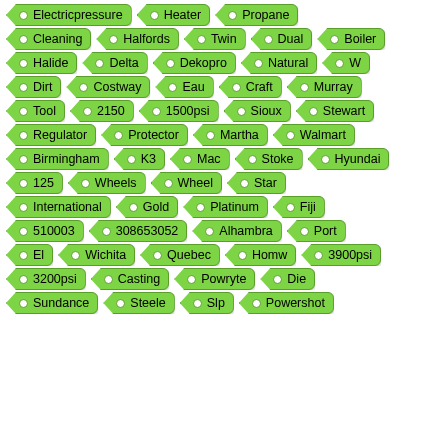Electricpressure
Heater
Propane
Cleaning
Halfords
Twin
Dual
Boiler
Halide
Delta
Dekopro
Natural
W
Dirt
Costway
Eau
Craft
Murray
Tool
2150
1500psi
Sioux
Stewart
Regulator
Protector
Martha
Walmart
Birmingham
K3
Mac
Stoke
Hyundai
125
Wheels
Wheel
Star
International
Gold
Platinum
Fiji
510003
308653052
Alhambra
Port
El
Wichita
Quebec
Homw
3900psi
3200psi
Casting
Powryte
Die
Sundance
Steele
Slp
Powershot